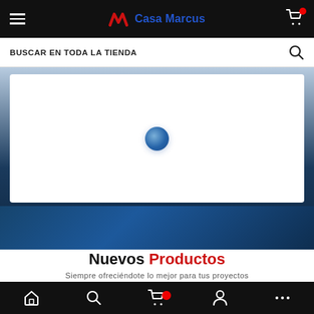[Figure (screenshot): Mobile app top navigation bar with hamburger menu, Casa Marcus logo, and cart icon on dark background]
BUSCAR EN TODA LA TIENDA
[Figure (screenshot): Banner area showing a loading white box with a blue spinner circle, over a dark blue gradient background with partially visible product image]
Nuevos Productos
Siempre ofreciéndote lo mejor para tus proyectos
[Figure (screenshot): Mobile bottom navigation bar with home, search, cart (with red badge), profile, and more icons on dark background]